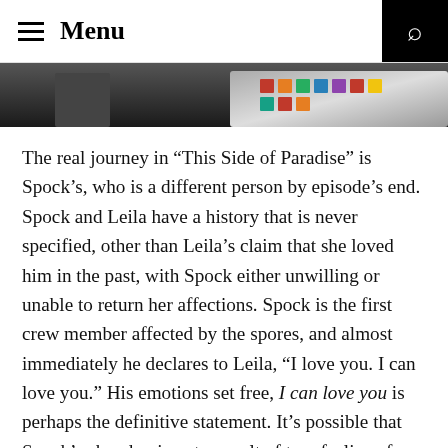Menu
[Figure (photo): Partial photo showing a person and a tray with colorful items on a table, cropped at top]
The real journey in “This Side of Paradise” is Spock’s, who is a different person by episode’s end. Spock and Leila have a history that is never specified, other than Leila’s claim that she loved him in the past, with Spock either unwilling or unable to return her affections. Spock is the first crew member affected by the spores, and almost immediately he declares to Leila, “I love you. I can love you.” His emotions set free, I can love you is perhaps the definitive statement. It’s possible that Spock’s abandon is not a result of true feelings for Leila, but simply the fact that he now has permission to experience love and happiness. It reminds me of Spock’s interaction with Chapel in “The Naked Time”